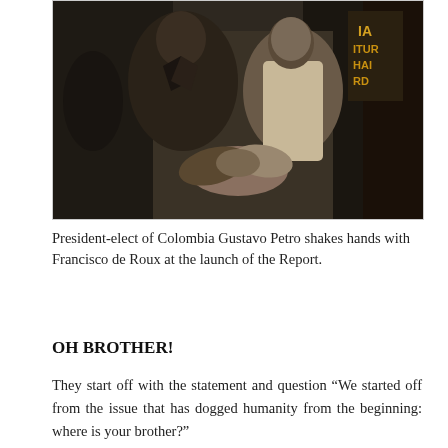[Figure (photo): President-elect of Colombia Gustavo Petro shaking hands with Francisco de Roux at what appears to be an event stage. Two men in dark suits shaking hands prominently in the foreground, with other people visible in the background.]
President-elect of Colombia Gustavo Petro shakes hands with Francisco de Roux at the launch of the Report.
OH BROTHER!
They start off with the statement and question “We started off from the issue that has dogged humanity from the beginning: where is your brother?”